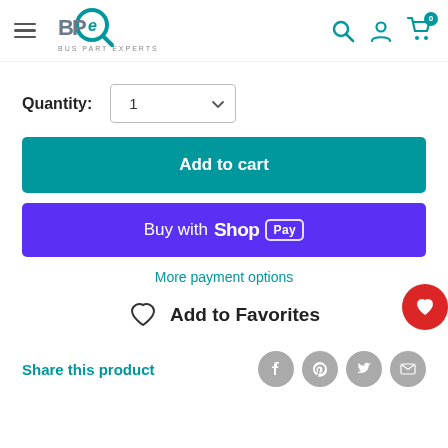[Figure (logo): Bus Part Experts (BPe) logo with magnifying glass graphic and text BUS PART EXPERTS]
Quantity: 1
Add to cart
Buy with Shop Pay
More payment options
Add to Favorites
Share this product